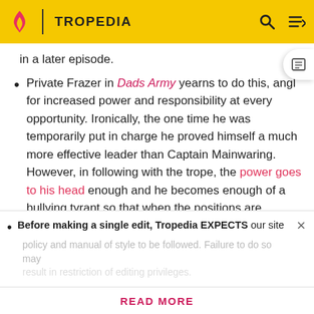TROPEDIA
in a later episode.
Private Frazer in Dads Army yearns to do this, angling for increased power and responsibility at every opportunity. Ironically, the one time he was temporarily put in charge he proved himself a much more effective leader than Captain Mainwaring. However, in following with the trope, the power goes to his head enough and he becomes enough of a bullying tyrant so that when the positions are returned to normal, no one really minds.
A curious example appears in Life On Mars in the form
Before making a single edit, Tropedia EXPECTS our site policy and manual of style to be followed. Failure to do so may
READ MORE